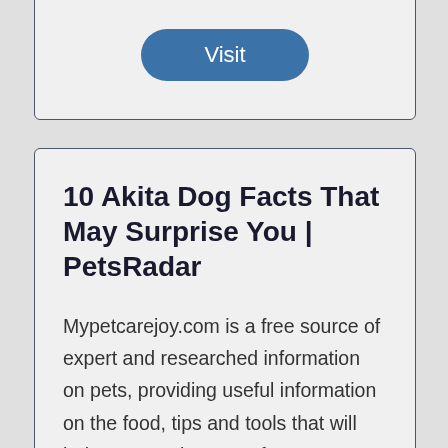[Figure (other): Partially visible card at top with a blue Visit button]
10 Akita Dog Facts That May Surprise You | PetsRadar
Mypetcarejoy.com is a free source of expert and researched information on pets, providing useful information on the food, tips and tools that will help you to take care of your Pet.
[Figure (other): Blue rounded Visit button]
[Figure (other): Partially visible card at bottom]